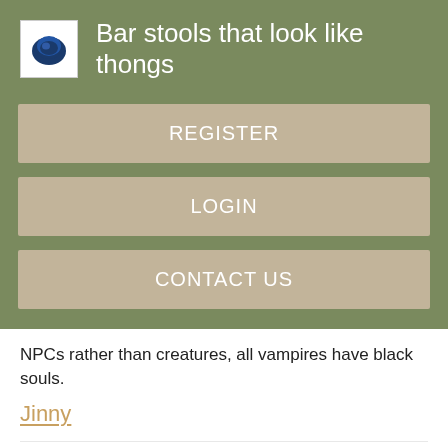Bar stools that look like thongs
REGISTER
LOGIN
CONTACT US
NPCs rather than creatures, all vampires have black souls.
Jinny
Years: 19
My gender: My sex is female